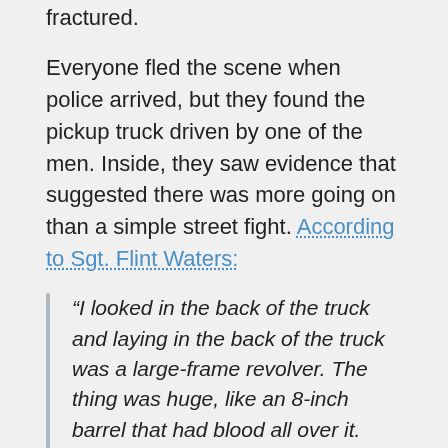fractured.
Everyone fled the scene when police arrived, but they found the pickup truck driven by one of the men. Inside, they saw evidence that suggested there was more going on than a simple street fight. According to Sgt. Flint Waters:
“I looked in the back of the truck and laying in the back of the truck was a large-frame revolver. The thing was huge, like an 8-inch barrel that had blood all over it. And there was some rope and a coat in the truck; there was I believe a shoe sitting in the front. … Seeing that the gun was covered in blood, I assumed that there was more going on than what we’d stumbled onto so far.”
Meanwhile, Matthew Shepard was tied to a fence post,